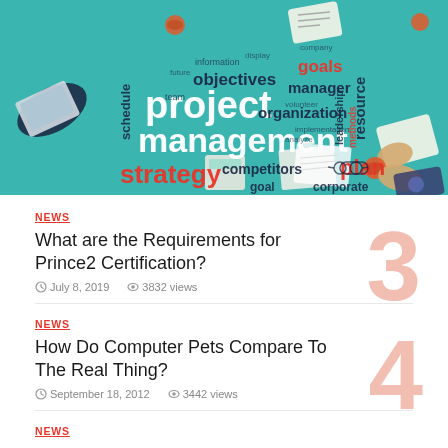[Figure (illustration): Word cloud / project management illustration on teal background showing hands holding devices and words: project management, strategy, objectives, goals, resource, manager, organization, plan, competitors, schedule, corporate, goal, leadership, methods]
NEWS
What are the Requirements for Prince2 Certification?
July 8, 2019   3832 views
NEWS
How Do Computer Pets Compare To The Real Thing?
September 18, 2012   3442 views
NEWS